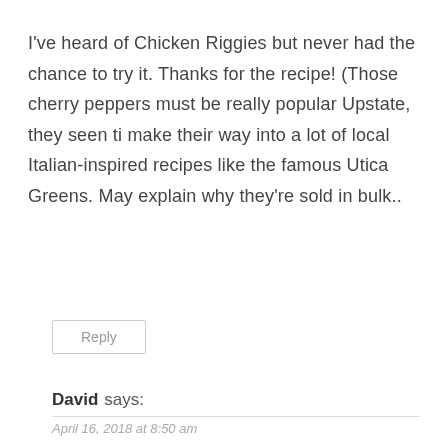I've heard of Chicken Riggies but never had the chance to try it. Thanks for the recipe! (Those cherry peppers must be really popular Upstate, they seen ti make their way into a lot of local Italian-inspired recipes like the famous Utica Greens. May explain why they're sold in bulk..
Reply
David says:
April 16, 2018 at 8:50 am